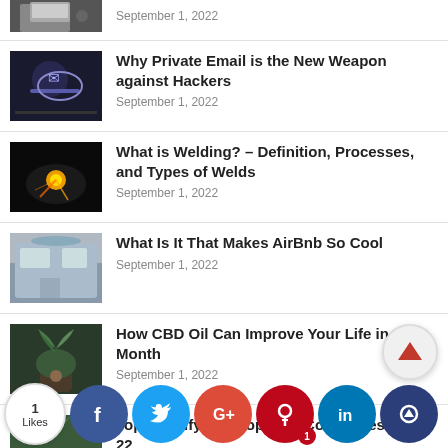[Figure (photo): Partial thumbnail of a computer/desk scene]
September 1, 2022
[Figure (photo): Person using a tablet or touchscreen device]
Why Private Email is the New Weapon against Hackers
September 1, 2022
[Figure (photo): Welding sparks on dark background]
What is Welding? – Definition, Processes, and Types of Welds
September 1, 2022
[Figure (photo): Restaurant or hotel lobby interior]
What Is It That Makes AirBnb So Cool
September 1, 2022
[Figure (photo): CBD plant in a dark pot]
How CBD Oil Can Improve Your Life in One Month
September 1, 2022
[Figure (photo): Partial thumbnail for Shopify article]
Top Shopify Development Companies Fo...22